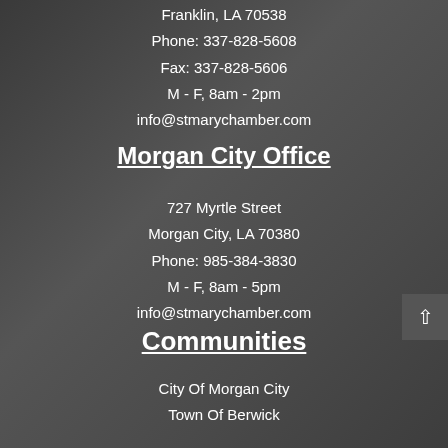Franklin, LA 70538
Phone: 337-828-5608
Fax: 337-828-5606
M - F, 8am - 2pm
info@stmarychamber.com
Morgan City Office
727 Myrtle Street
Morgan City, LA 70380
Phone: 985-384-3830
M - F, 8am - 5pm
info@stmarychamber.com
Communities
City Of Morgan City
Town Of Berwick